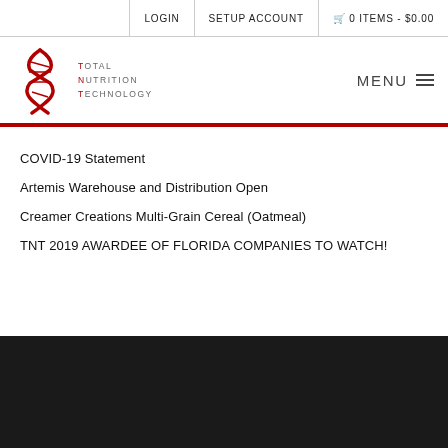LOGIN | SETUP ACCOUNT | 0 ITEMS - $0.00
[Figure (logo): Total Nutrition Technology logo with red DNA helix graphic and text TOTAL NUTRITION TECHNOLOGY]
COVID-19 Statement
Artemis Warehouse and Distribution Open
Creamer Creations Multi-Grain Cereal (Oatmeal)
TNT 2019 AWARDEE OF FLORIDA COMPANIES TO WATCH!